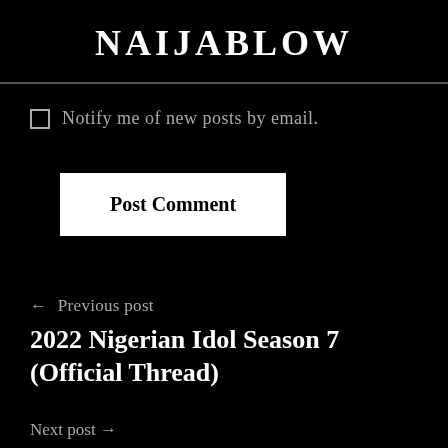NAIJABLOW
Notify me of new posts by email.
Post Comment
← Previous post
2022 Nigerian Idol Season 7 (Official Thread)
Next post →